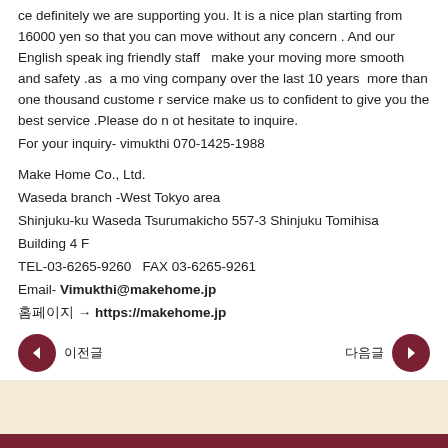ce definitely we are supporting you. It is a nice plan starting from 16000 yen so that you can move without any concern . And our English speaking friendly staff  make your moving more smooth and safety .as  a moving company over the last 10 years  more than one thousand customer service make us to confident to give you the best service .Please do not hesitate to inquire.
For your inquiry- vimukthi 070-1425-1988
Make Home Co., Ltd.
Waseda branch -West Tokyo area
Shinjuku-ku Waseda Tsurumakicho 557-3 Shinjuku Tomihisa Building 4F
TEL-03-6265-9260  FAX 03-6265-9261
Email- Vimukthi@makehome.jp
홈페이지 → https://makehome.jp
◀ 이전글    다음글 ▶